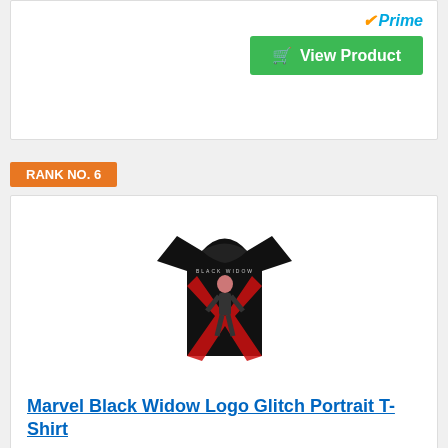[Figure (other): Amazon Prime badge with checkmark and 'Prime' text in blue italic, and a green 'View Product' button with cart icon]
RANK NO. 6
[Figure (photo): Black t-shirt featuring Marvel Black Widow graphic with red X logo and character portrait]
Marvel Black Widow Logo Glitch Portrait T-Shirt
Officially Licensed Marvel Apparel
19MARL00244A-002
Lightweight, Classic fit, Double-needle sleeve and